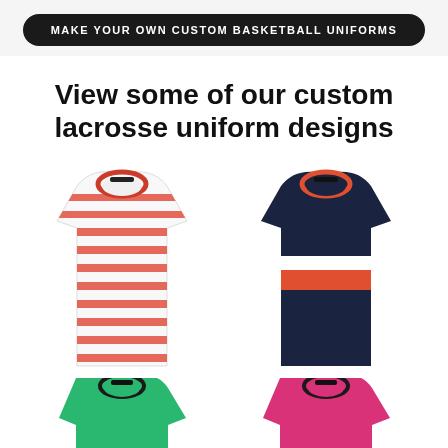MAKE YOUR OWN CUSTOM BASKETBALL UNIFORMS
View some of our custom lacrosse uniform designs
[Figure (photo): Two lacrosse tank top jerseys side by side: left is white with red horizontal stripes, right is navy blue with orange and white horizontal chest stripes]
[Figure (photo): Bottom row showing two more jerseys partially visible: left is green, right is pink/magenta]